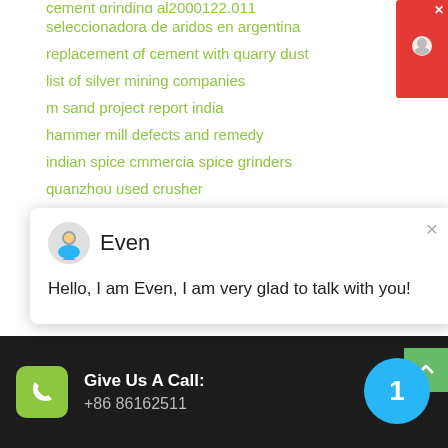cement grinding al2000122.011 (partially visible)
seleccionadora de aridos en argentina
replacement of cement with quarry dust
list of silver mining companies
m sand project report india
hammer mill defects and remedy
indian spice cmmercia spice grinders
quanzhou used crusher
[Figure (screenshot): Chat popup with avatar named Even saying: Hello, I am Even, I am very glad to talk with you!]
[Figure (screenshot): Blue circle notification badge with number 1]
[Figure (screenshot): Dark footer with green phone icon box, Give Us A Call: text, and phone number +86 86162511]